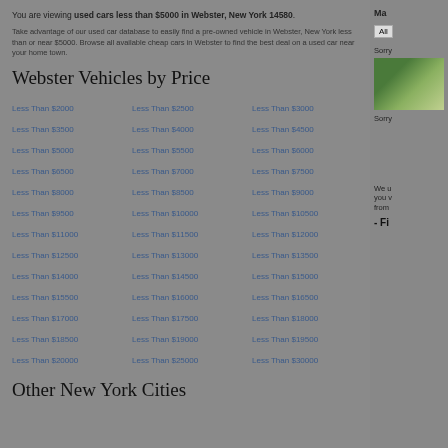You are viewing used cars less than $5000 in Webster, New York 14580.
Take advantage of our used car database to easily find a pre-owned vehicle in Webster, New York less than or near $5000. Browse all available cheap cars in Webster to find the best deal on a used car near your home town.
Webster Vehicles by Price
Less Than $2000
Less Than $2500
Less Than $3000
Less Than $3500
Less Than $4000
Less Than $4500
Less Than $5000
Less Than $5500
Less Than $6000
Less Than $6500
Less Than $7000
Less Than $7500
Less Than $8000
Less Than $8500
Less Than $9000
Less Than $9500
Less Than $10000
Less Than $10500
Less Than $11000
Less Than $11500
Less Than $12000
Less Than $12500
Less Than $13000
Less Than $13500
Less Than $14000
Less Than $14500
Less Than $15000
Less Than $15500
Less Than $16000
Less Than $16500
Less Than $17000
Less Than $17500
Less Than $18000
Less Than $18500
Less Than $19000
Less Than $19500
Less Than $20000
Less Than $25000
Less Than $30000
Other New York Cities